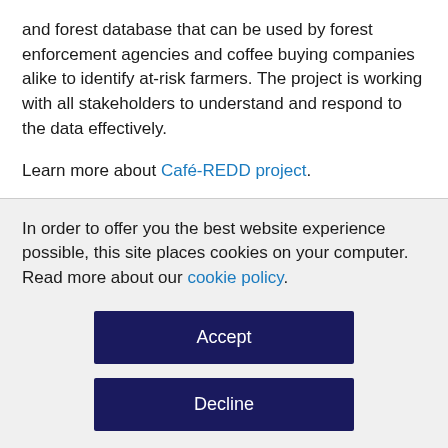and forest database that can be used by forest enforcement agencies and coffee buying companies alike to identify at-risk farmers. The project is working with all stakeholders to understand and respond to the data effectively.
Learn more about Café-REDD project.
In order to offer you the best website experience possible, this site places cookies on your computer. Read more about our cookie policy.
Accept
Decline